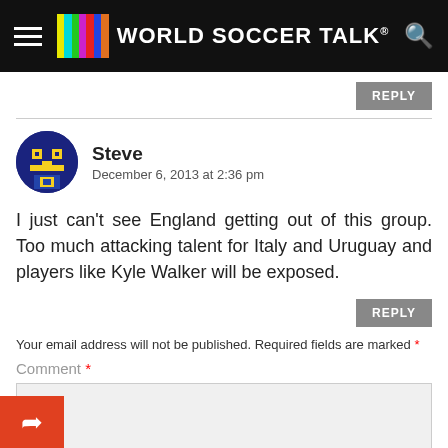World Soccer Talk
Steve
December 6, 2013 at 2:36 pm
I just can't see England getting out of this group. Too much attacking talent for Italy and Uruguay and players like Kyle Walker will be exposed.
Your email address will not be published. Required fields are marked *
Comment *